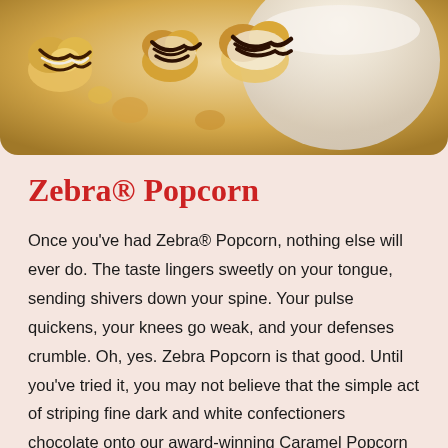[Figure (photo): Close-up photo of Zebra Popcorn — caramel popcorn pieces drizzled with dark and white chocolate stripes, on a light background with a white bowl partially visible.]
Zebra® Popcorn
Once you've had Zebra® Popcorn, nothing else will ever do. The taste lingers sweetly on your tongue, sending shivers down your spine. Your pulse quickens, your knees go weak, and your defenses crumble. Oh, yes. Zebra Popcorn is that good. Until you've tried it, you may not believe that the simple act of striping fine dark and white confectioners chocolate onto our award-winning Caramel Popcorn could have such a devastating effect.